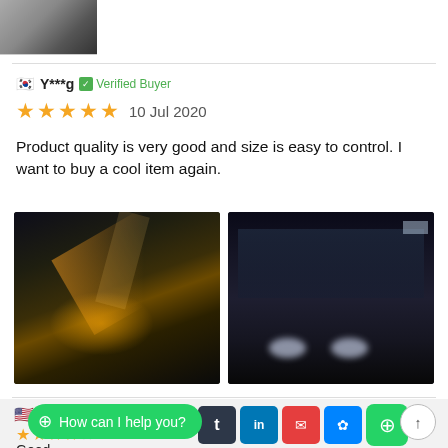[Figure (photo): Partial view of a person photo at top of page]
🇰🇷 Y***g  ✅ Verified Buyer
★★★★★  10 Jul 2020
Product quality is very good and size is easy to control. I want to buy a cool item again.
[Figure (photo): Motorcycle rider in dramatic night/action shot with light trails]
[Figure (photo): Group of motorcyclists on a city road at night]
[Figure (other): WhatsApp chat bubble overlay: 'How can I help you?' with social sharing icons in background]
Good